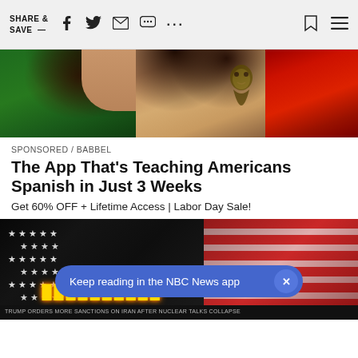SHARE & SAVE —
[Figure (photo): Woman with dark wavy hair over Mexican flag background with green, white/gold, and red sections]
SPONSORED / BABBEL
The App That's Teaching Americans Spanish in Just 3 Weeks
Get 60% OFF + Lifetime Access | Labor Day Sale!
[Figure (photo): American flag close-up, dark stars section on left, red and white stripes on right, with golden breaking news text overlay]
Keep reading in the NBC News app